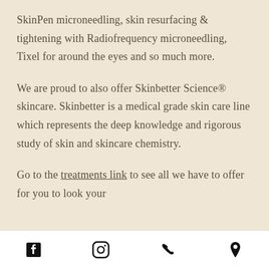SkinPen microneedling, skin resurfacing & tightening with Radiofrequency microneedling, Tixel for around the eyes and so much more.
We are proud to also offer Skinbetter Science® skincare. Skinbetter is a medical grade skin care line which represents the deep knowledge and rigorous study of skin and skincare chemistry.
Go to the treatments link to see all we have to offer for you to look your
[Facebook icon] [Instagram icon] [Phone icon] [Location icon]